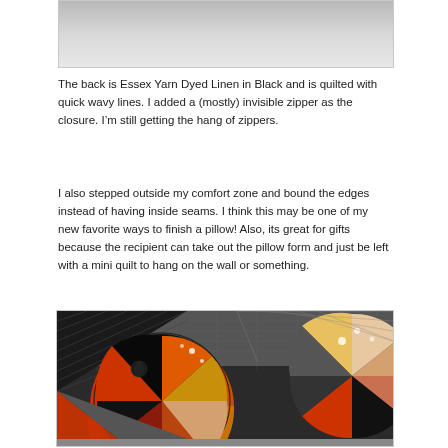[Figure (photo): Top portion of a photo showing a white wooden surface or background, partially cropped]
The back is Essex Yarn Dyed Linen in Black and is quilted with quick wavy lines. I added a (mostly) invisible zipper as the closure. I'm still getting the hang of zippers.
I also stepped outside my comfort zone and bound the edges instead of having inside seams. I think this may be one of my new favorite ways to finish a pillow! Also, its great for gifts because the recipient can take out the pillow form and just be left with a mini quilt to hang on the wall or something.
[Figure (photo): Close-up photo of a quilted pillow showing circular patchwork design with orange, red, black, gold, and grey fabric pieces arranged in a curved/fan pattern]